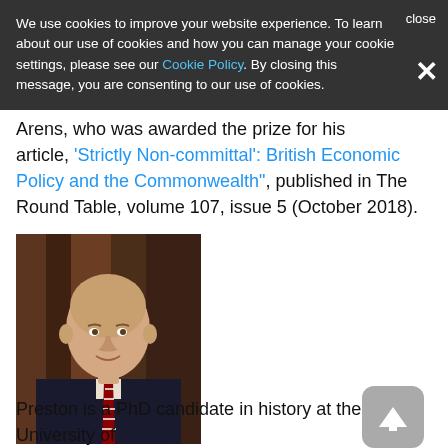We use cookies to improve your website experience. To learn about our use of cookies and how you can manage your cookie settings, please see our Cookie Policy. By closing this message, you are consenting to our use of cookies.
Arens, who was awarded the prize for his article, 'Strictly Non-committal': British Economic Policy and the Commonwealth", published in The Round Table, volume 107, issue 5 (October 2018).
[Figure (photo): Headshot portrait of a young bald man in a dark suit with a red and white striped tie, smiling slightly, against a dark wood background.]
Preston is a PhD candidate in history at the University of